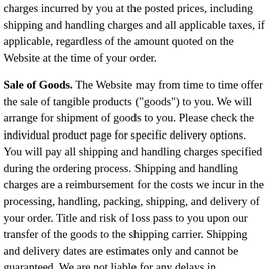charges incurred by you at the posted prices, including shipping and handling charges and all applicable taxes, if applicable, regardless of the amount quoted on the Website at the time of your order.
Sale of Goods. The Website may from time to time offer the sale of tangible products ("goods") to you. We will arrange for shipment of goods to you. Please check the individual product page for specific delivery options. You will pay all shipping and handling charges specified during the ordering process. Shipping and handling charges are a reimbursement for the costs we incur in the processing, handling, packing, shipping, and delivery of your order. Title and risk of loss pass to you upon our transfer of the goods to the shipping carrier. Shipping and delivery dates are estimates only and cannot be guaranteed. We are not liable for any delays in shipments. Unless a return policy for goods is